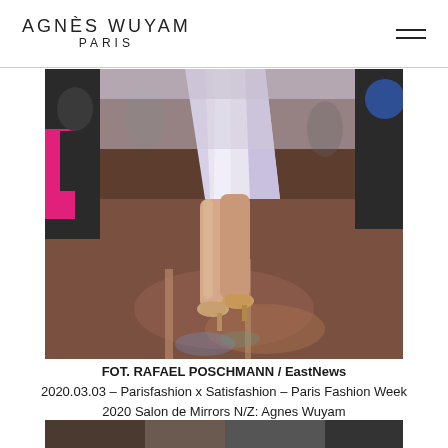AGNÈS WUYAM PARIS
[Figure (photo): Fashion runway photo showing lower body of model in white/light lavender dress walking on a reflective wooden floor, taken at Paris Fashion Week 2020 Salon de Mirrors]
FOT. RAFAEL POSCHMANN / EastNews 2020.03.03 – Parisfashion x Satisfashion – Paris Fashion Week 2020 Salon de Mirrors N/Z: Agnes Wuyam
[Figure (photo): Partially visible next photo at bottom of page]